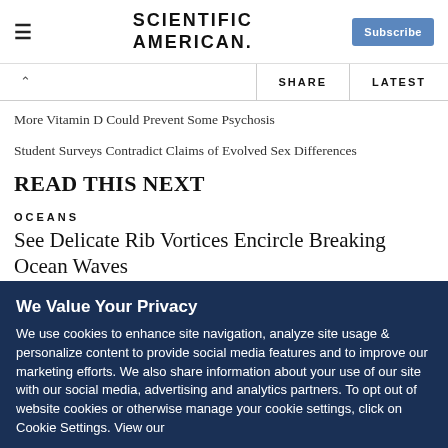SCIENTIFIC AMERICAN
More Vitamin D Could Prevent Some Psychosis
Student Surveys Contradict Claims of Evolved Sex Differences
READ THIS NEXT
OCEANS
See Delicate Rib Vortices Encircle Breaking Ocean Waves
Joanna Thompson
We Value Your Privacy
We use cookies to enhance site navigation, analyze site usage & personalize content to provide social media features and to improve our marketing efforts. We also share information about your use of our site with our social media, advertising and analytics partners. To opt out of website cookies or otherwise manage your cookie settings, click on Cookie Settings. View our